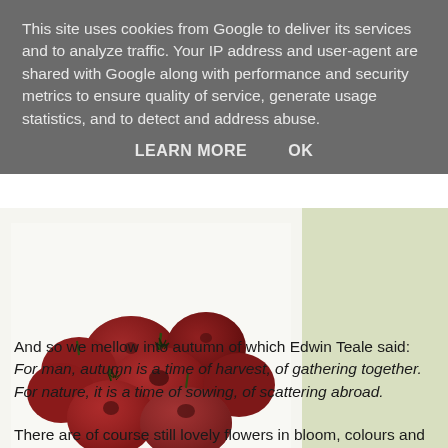This site uses cookies from Google to deliver its services and to analyze traffic. Your IP address and user-agent are shared with Google along with performance and security metrics to ensure quality of service, generate usage statistics, and to detect and address abuse.
LEARN MORE    OK
[Figure (photo): A cluster of dried red rosehips on a white background]
And so we mellow into autumn of which Edwin Teale said: For man, autumn is a time of harvest, of gathering together. For nature, it is a time of sowing, of scattering abroad.
There are of course still lovely flowers in bloom, colours and textures to take us into the next season, a new canvas we